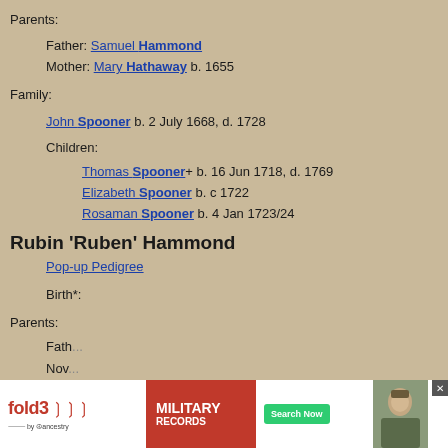Parents:
Father: Samuel Hammond
Mother: Mary Hathaway b. 1655
Family:
John Spooner b. 2 July 1668, d. 1728
Children:
Thomas Spooner+ b. 16 Jun 1718, d. 1769
Elizabeth Spooner b. c 1722
Rosaman Spooner b. 4 Jan 1723/24
Rubin 'Ruben' Hammond
Pop-up Pedigree
Birth*:
Parents:
Fath... [Father entry partially visible]
Nov... [Mother entry partially visible]